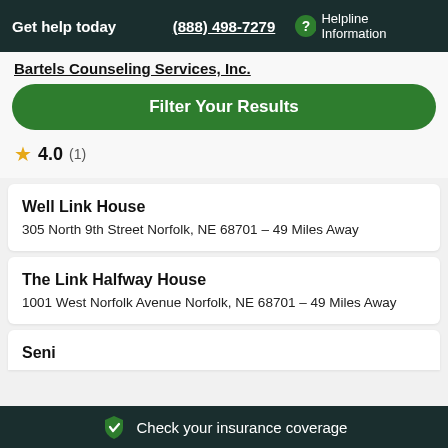Get help today  (888) 498-7279  Helpline Information
Bartels Counseling Services, Inc.
Filter Your Results
★ 4.0 (1)
Well Link House
305 North 9th Street Norfolk, NE 68701 - 49 Miles Away
The Link Halfway House
1001 West Norfolk Avenue Norfolk, NE 68701 - 49 Miles Away
Check your insurance coverage